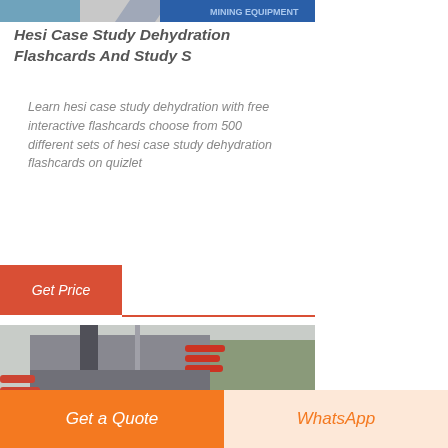[Figure (photo): Top banner image showing mining/industrial equipment with blue tones]
Hesi Case Study Dehydration Flashcards And Study S
Learn hesi case study dehydration with free interactive flashcards choose from 500 different sets of hesi case study dehydration flashcards on quizlet
[Figure (other): Live Chat speech bubble icon in teal/dark blue]
[Figure (photo): Industrial building with smokestacks and red piping surrounded by trees]
Get Price
Get a Quote
WhatsApp